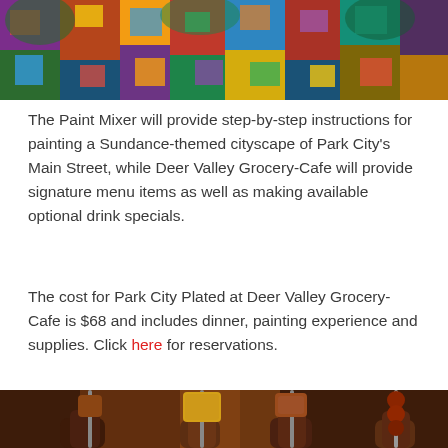[Figure (photo): Colorful Sundance-themed cityscape mural painting at the top of the page]
The Paint Mixer will provide step-by-step instructions for painting a Sundance-themed cityscape of Park City's Main Street, while Deer Valley Grocery-Cafe will provide signature menu items as well as making available optional drink specials.
The cost for Park City Plated at Deer Valley Grocery-Cafe is $68 and includes dinner, painting experience and supplies. Click here for reservations.
[Figure (photo): Food skewers being held up at a restaurant — various meats and a yellow cornbread square on metal skewers]